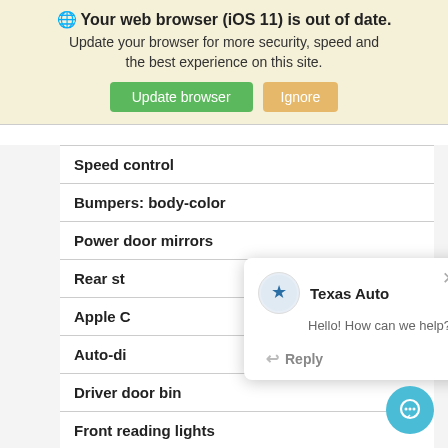[Figure (screenshot): Browser update notification banner with globe icon, bold text 'Your web browser (iOS 11) is out of date.', subtext 'Update your browser for more security, speed and the best experience on this site.', and two buttons: green 'Update browser' and orange 'Ignore']
| Speed control |
| Bumpers: body-color |
| Power door mirrors |
| Rear st… |
| Apple C… |
| Auto-di… |
| Driver door bin |
| Front reading lights |
| Illuminated entry |
[Figure (screenshot): Chat popup from Texas Auto with avatar, message 'Hello! How can we help?' and Reply button. Also a teal chat bubble button in the bottom right.]